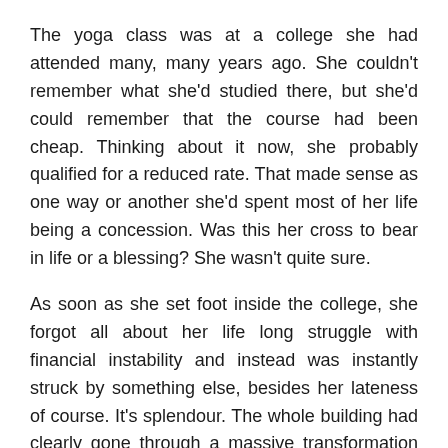The yoga class was at a college she had attended many, many years ago. She couldn't remember what she'd studied there, but she'd could remember that the course had been cheap. Thinking about it now, she probably qualified for a reduced rate. That made sense as one way or another she'd spent most of her life being a concession. Was this her cross to bear in life or a blessing? She wasn't quite sure.
As soon as she set foot inside the college, she forgot all about her life long struggle with financial instability and instead was instantly struck by something else, besides her lateness of course. It's splendour. The whole building had clearly gone through a massive transformation since her last trip here.
Before her lay a large and lavish reception area. Here two immaculately dressed young women were perched behind